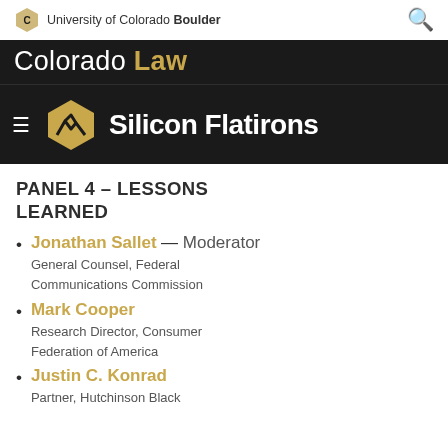University of Colorado Boulder
Colorado Law
[Figure (logo): Silicon Flatirons logo with hexagon and mountain symbol]
PANEL 4 – LESSONS LEARNED
Jonathan Sallet — Moderator
General Counsel, Federal Communications Commission
Mark Cooper
Research Director, Consumer Federation of America
Justin C. Konrad
Partner, Hutchinson Black